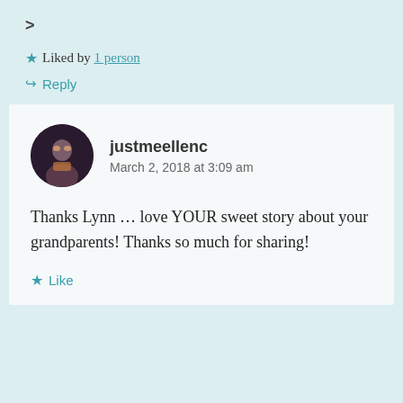>
★ Liked by 1 person
↪ Reply
justmeellenc
March 2, 2018 at 3:09 am
Thanks Lynn ... love YOUR sweet story about your grandparents! Thanks so much for sharing!
★ Like